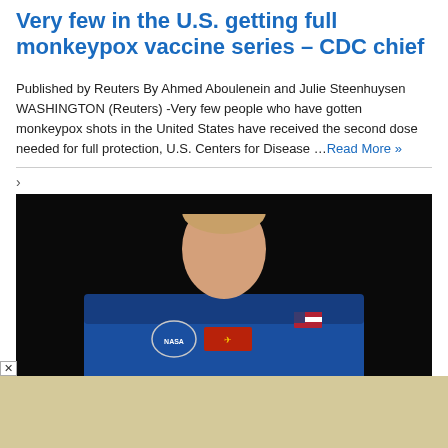Very few in the U.S. getting full monkeypox vaccine series – CDC chief
Published by Reuters By Ahmed Aboulenein and Julie Steenhuysen WASHINGTON (Reuters) -Very few people who have gotten monkeypox shots in the United States have received the second dose needed for full protection, U.S. Centers for Disease …Read More »
[Figure (photo): Portrait of Nicole Mann in NASA blue flight suit against dark background]
Nicole Mann says she is proud to